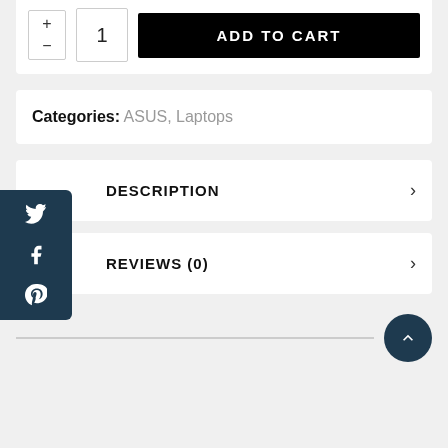[Figure (screenshot): Top section of an e-commerce product page showing a quantity selector with + and - buttons and the number 1, alongside a black 'ADD TO CART' button.]
Categories: ASUS, Laptops
DESCRIPTION
REVIEWS (0)
[Figure (other): Social media share sidebar with Twitter, Facebook, and Pinterest icons on a dark teal background.]
[Figure (other): Scroll-to-top button (dark teal circle with upward chevron) at bottom right, with a horizontal divider line.]